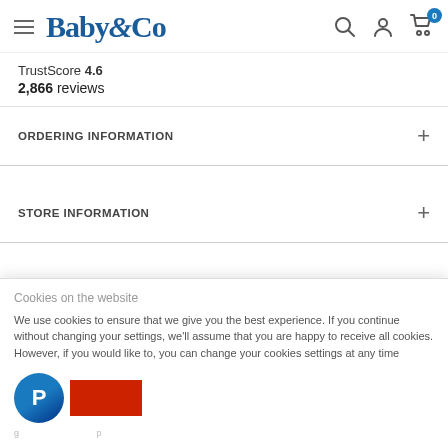Baby&Co navigation header with hamburger menu, logo, search, account, and cart icons
TrustScore 4.6
2,866 reviews
ORDERING INFORMATION
STORE INFORMATION
TERMS & CONDITIONS
Cookies on the website
We use cookies to ensure that we give you the best experience. If you continue without changing your settings, we'll assume that you are happy to receive all cookies. However, if you would like to, you can change your cookies settings at any time